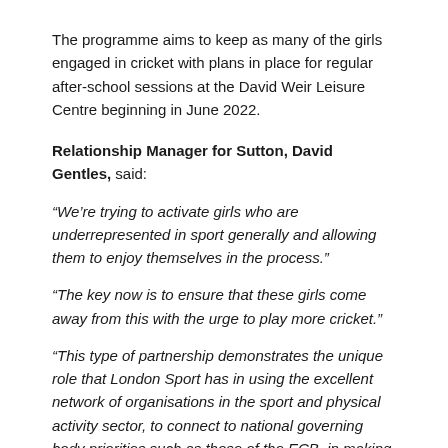The programme aims to keep as many of the girls engaged in cricket with plans in place for regular after-school sessions at the David Weir Leisure Centre beginning in June 2022.
Relationship Manager for Sutton, David Gentles, said:
“We’re trying to activate girls who are underrepresented in sport generally and allowing them to enjoy themselves in the process.”
“The key now is to ensure that these girls come away from this with the urge to play more cricket.”
“This type of partnership demonstrates the unique role that London Sport has in using the excellent network of organisations in the sport and physical activity sector, to connect to national governing body priorities such as those of the ECB, in making real change in parts of